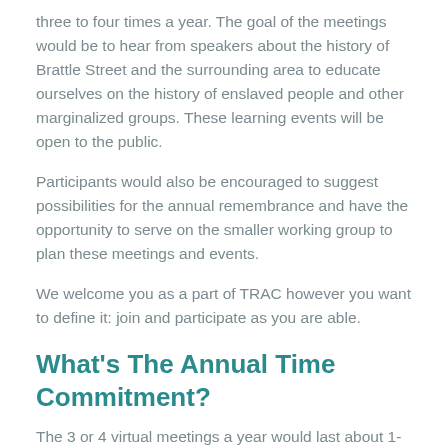three to four times a year. The goal of the meetings would be to hear from speakers about the history of Brattle Street and the surrounding area to educate ourselves on the history of enslaved people and other marginalized groups. These learning events will be open to the public.
Participants would also be encouraged to suggest possibilities for the annual remembrance and have the opportunity to serve on the smaller working group to plan these meetings and events.
We welcome you as a part of TRAC however you want to define it: join and participate as you are able.
What's The Annual Time Commitment?
The 3 or 4 virtual meetings a year would last about 1-1.5 hours each.